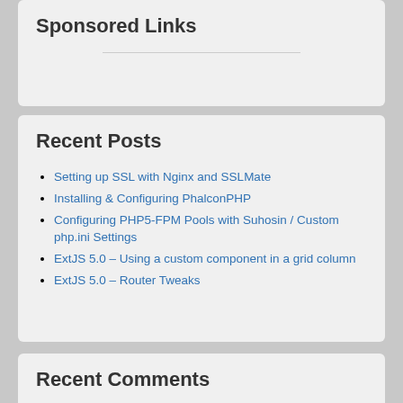Sponsored Links
Recent Posts
Setting up SSL with Nginx and SSLMate
Installing & Configuring PhalconPHP
Configuring PHP5-FPM Pools with Suhosin / Custom php.ini Settings
ExtJS 5.0 – Using a custom component in a grid column
ExtJS 5.0 – Router Tweaks
Recent Comments